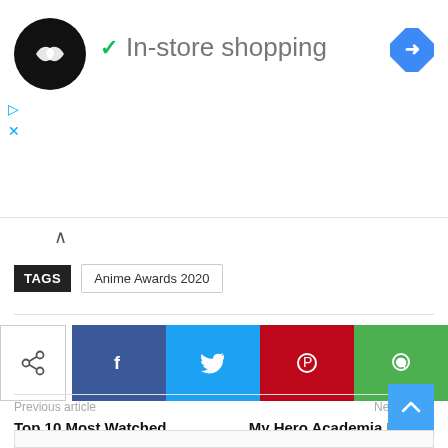[Figure (screenshot): Ad banner with circular black logo with double arrow icon, green checkmark, 'In-store shopping' text in gray, blue diamond navigation icon top right, cyan play and X controls on left]
TAGS
Anime Awards 2020
[Figure (infographic): Social share buttons row: share icon outlined box, then Facebook (blue), Twitter (cyan), Pinterest (red), WhatsApp (green) square buttons]
Previous article
Top 10 Most Watched Anime Series That You Need To Know
Next article
My Hero Academia Manga Delayed